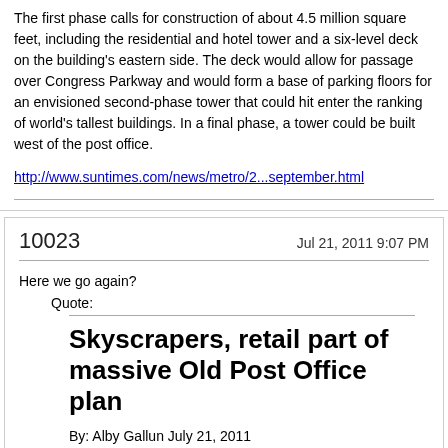The first phase calls for construction of about 4.5 million square feet, including the residential and hotel tower and a six-level deck on the building's eastern side. The deck would allow for passage over Congress Parkway and would form a base of parking floors for an envisioned second-phase tower that could hit enter the ranking of world's tallest buildings. In a final phase, a tower could be built west of the post office.
http://www.suntimes.com/news/metro/2...september.html
10023
Jul 21, 2011 9:07 PM
Here we go again?
Quote:
Skyscrapers, retail part of massive Old Post Office plan
By: Alby Gallun July 21, 2011
(Crain's) — The owner of the Old Main Post Office has unveiled an audacious plan to transform the hulking structure and surrounding properties into a massive complex spanning